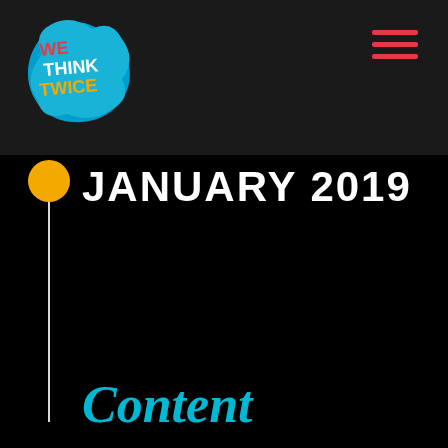[Figure (logo): We Think Twice logo — handwritten style text on blue paint splash background]
JANUARY 2019
Content